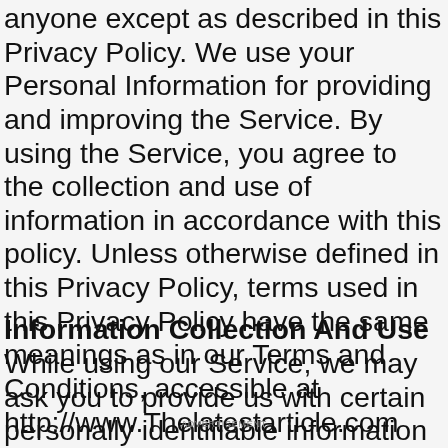anyone except as described in this Privacy Policy. We use your Personal Information for providing and improving the Service. By using the Service, you agree to the collection and use of information in accordance with this policy. Unless otherwise defined in this Privacy Policy, terms used in this Privacy Policy have the same meanings as in our Terms and Conditions, accessible at http://www.Thelatestarticle.com
Information Collection And Use
While using our Service, we may ask you to provide us with certain personally identifiable information that can be used
ADVERTISEMENT